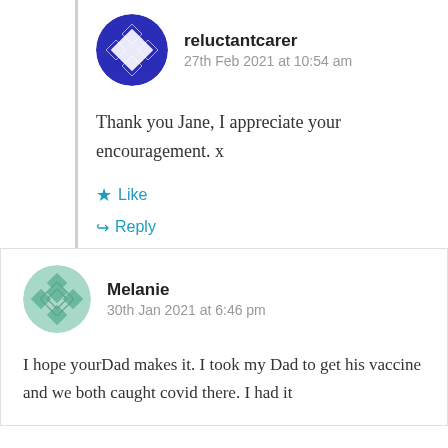reluctantcarer
27th Feb 2021 at 10:54 am
Thank you Jane, I appreciate your encouragement. x
Like
Reply
Melanie
30th Jan 2021 at 6:46 pm
I hope yourDad makes it. I took my Dad to get his vaccine and we both caught covid there. I had it